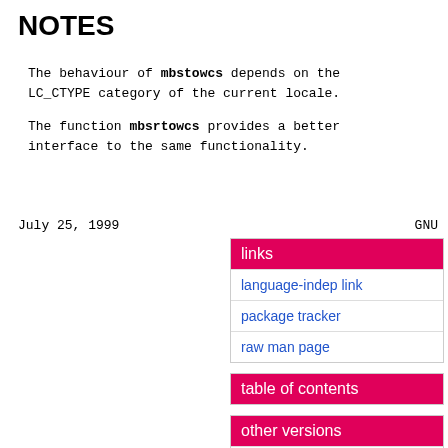NOTES
The behaviour of mbstowcs depends on the LC_CTYPE category of the current locale.
The function mbsrtowcs provides a better interface to the same functionality.
July 25, 1999                                     GNU
| links |
| --- |
| language-indep link |
| package tracker |
| raw man page |
| table of contents |
| --- |
| other versions |
| --- |
| bullseye | 20040726-4.1 |